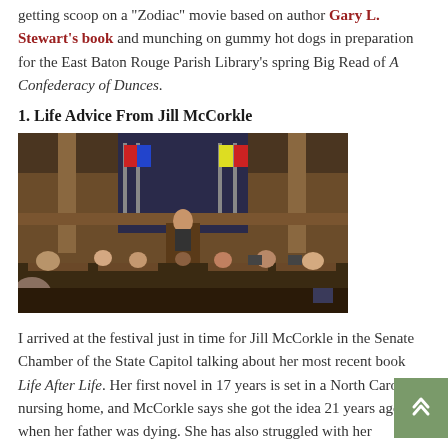getting scoop on a "Zodiac" movie based on author Gary L. Stewart's book and munching on gummy hot dogs in preparation for the East Baton Rouge Parish Library's spring Big Read of A Confederacy of Dunces.
1. Life Advice From Jill McCorkle
[Figure (photo): A woman speaking at a podium in what appears to be a Senate Chamber of a State Capitol, with audience members seated at desks and flags in the background.]
I arrived at the festival just in time for Jill McCorkle in the Senate Chamber of the State Capitol talking about her most recent book Life After Life. Her first novel in 17 years is set in a North Carolina nursing home, and McCorkle says she got the idea 21 years ago when her father was dying. She has also struggled with her